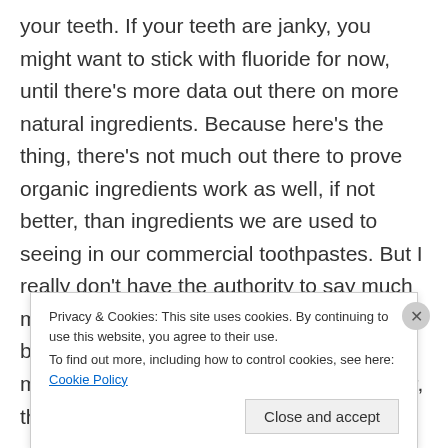your teeth. If your teeth are janky, you might want to stick with fluoride for now, until there's more data out there on more natural ingredients. Because here's the thing, there's not much out there to prove organic ingredients work as well, if not better, than ingredients we are used to seeing in our commercial toothpastes. But I really don't have the authority to say much more on the subject. I just look forward to brushing my teeth with something I made myself. If you're interested in diving deeper, though, visit this
Privacy & Cookies: This site uses cookies. By continuing to use this website, you agree to their use.
To find out more, including how to control cookies, see here: Cookie Policy
Close and accept